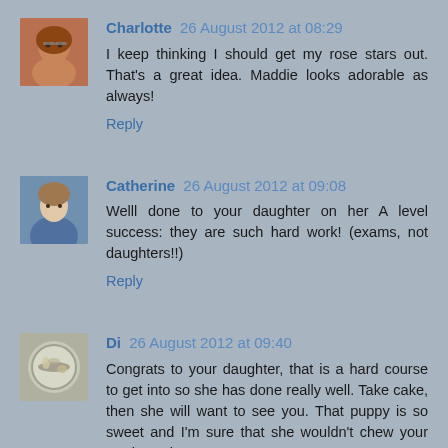[Figure (photo): Avatar photo of Charlotte - woman with glasses and auburn hair]
Charlotte 26 August 2012 at 08:29
I keep thinking I should get my rose stars out. That's a great idea. Maddie looks adorable as always!
Reply
[Figure (photo): Avatar photo of Catherine - child outdoors]
Catherine 26 August 2012 at 09:08
Welll done to your daughter on her A level success: they are such hard work! (exams, not daughters!!)
Reply
[Figure (photo): Avatar photo of Di - plate with food]
Di 26 August 2012 at 09:40
Congrats to your daughter, that is a hard course to get into so she has done really well. Take cake, then she will want to see you. That puppy is so sweet and I'm sure that she wouldn't chew your sewing! Di x
Reply